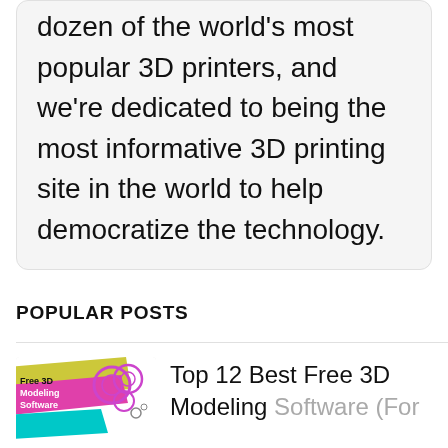dozen of the world's most popular 3D printers, and we're dedicated to being the most informative 3D printing site in the world to help democratize the technology.
POPULAR POSTS
[Figure (illustration): Thumbnail image for a blog post about free 3D modeling software, showing colorful diagonal banner shapes with text 'Free 3D Modeling Software' and decorative circles/gear icons.]
Top 12 Best Free 3D Modeling Software (For Beginners) 2022